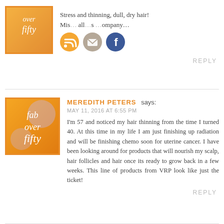[Figure (logo): Fab Over Fifty orange logo with white italic text]
Stress and thinning, dull, dry hair! Mis… all…s …ompany…
[Figure (illustration): Social media icons: RSS feed (orange), email (tan), Facebook (blue)]
REPLY
[Figure (logo): Fab Over Fifty orange logo with white italic text]
MEREDITH PETERS says:
MAY 11, 2016 AT 6:55 PM
I'm 57 and noticed my hair thinning from the time I turned 40. At this time in my life I am just finishing up radiation and will be finishing chemo soon for uterine cancer. I have been looking around for products that will nourish my scalp, hair follicles and hair once its ready to grow back in a few weeks. This line of products from VRP look like just the ticket!
REPLY